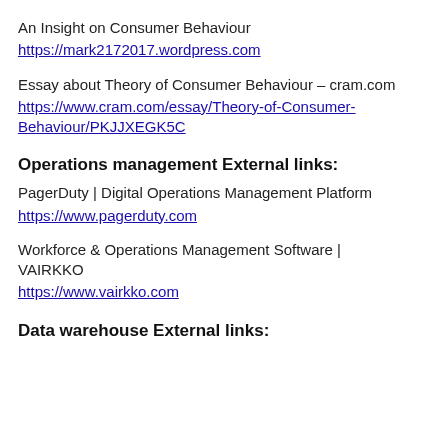An Insight on Consumer Behaviour
https://mark2172017.wordpress.com
Essay about Theory of Consumer Behaviour – cram.com
https://www.cram.com/essay/Theory-of-Consumer-Behaviour/PKJJXEGK5C
Operations management External links:
PagerDuty | Digital Operations Management Platform
https://www.pagerduty.com
Workforce & Operations Management Software | VAIRKKO
https://www.vairkko.com
Data warehouse External links: